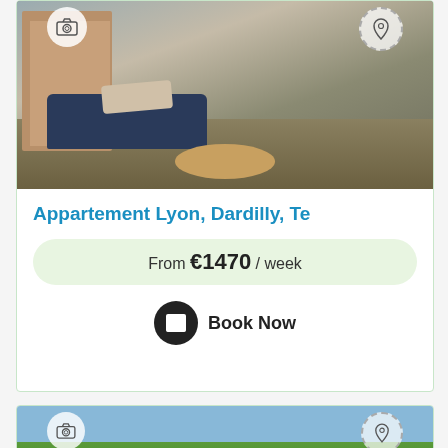[Figure (photo): Interior room photo showing a sofa, round wooden table, wooden shelving unit, and pillows in an apartment listing card]
Appartement Lyon, Dardilly, Te
From €1470 / week
Book Now
[Figure (photo): Aerial/exterior photo of a rural house surrounded by trees and greenery in a countryside setting]